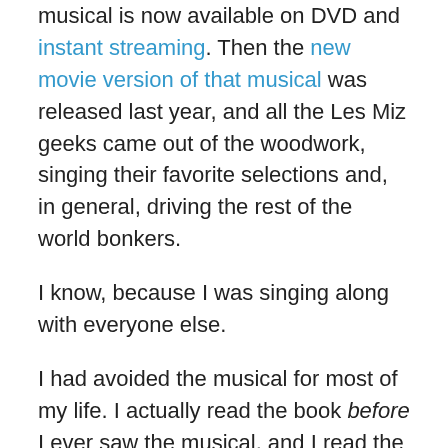musical is now available on DVD and instant streaming. Then the new movie version of that musical was released last year, and all the Les Miz geeks came out of the woodwork, singing their favorite selections and, in general, driving the rest of the world bonkers.
I know, because I was singing along with everyone else.
I had avoided the musical for most of my life. I actually read the book before I ever saw the musical, and I read the complete and unabridged version. I did my undergraduate thesis on Les Miserables, and so I have spent more time on the work and its author than most fans of the musical.
Which is why when Catholics I respect tell me that Victor Hugo was anti-Catholic, and give me this funny oh-you-poor-unfortunate-soul condescending smile when I tell